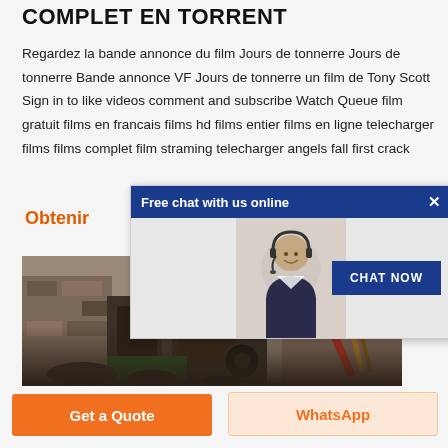COMPLET EN TORRENT
Regardez la bande annonce du film Jours de tonnerre Jours de tonnerre Bande annonce VF Jours de tonnerre un film de Tony Scott Sign in to like videos comment and subscribe Watch Queue film gratuit films en francais films hd films entier films en ligne telecharger films films complet film straming telecharger angels fall first crack
Obtenir
[Figure (screenshot): Chat popup overlay with blue header 'Free chat with us online', close X button, image of woman with headset, and 'CHAT NOW' blue button]
[Figure (photo): Construction site photo showing industrial machinery, stone walls, and equipment]
Get a Quote
WhatsApp